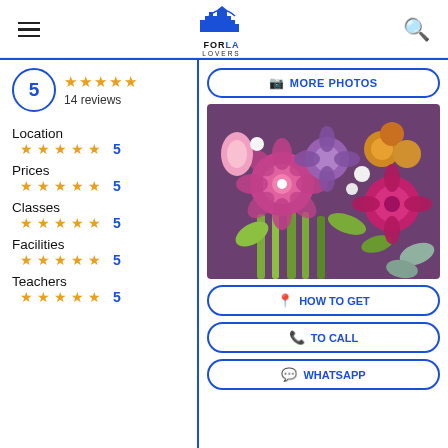FOR LA LOVERS
5 ★★★★★ 14 reviews
Location ★★★★★ 5
Prices ★★★★★ 5
Classes ★★★★★ 5
Facilities ★★★★★ 5
Teachers ★★★★★ 5
[Figure (photo): Flower bouquet with pink carnations, purple lisianthus, magenta gerberas, yellow chrysanthemums, and green lilies]
MORE PHOTOS
HOW TO GET
TO CALL
WHATSAPP